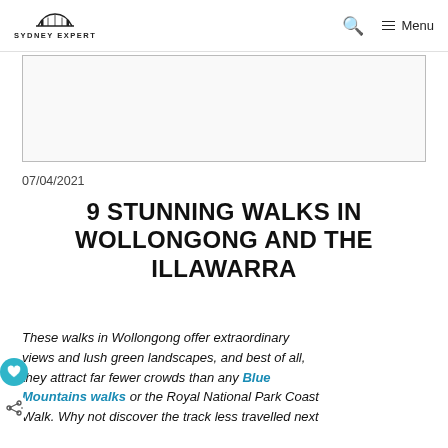SYDNEY EXPERT — Search — Menu
[Figure (other): Advertisement placeholder box, empty grey-bordered rectangle]
07/04/2021
9 STUNNING WALKS IN WOLLONGONG AND THE ILLAWARRA
These walks in Wollongong offer extraordinary views and lush green landscapes, and best of all, they attract far fewer crowds than any Blue Mountains walks or the Royal National Park Coast Walk. Why not discover the track less travelled next